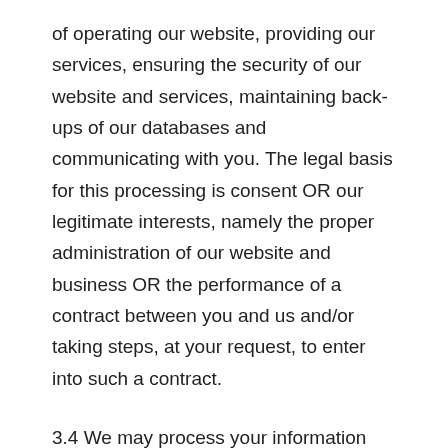of operating our website, providing our services, ensuring the security of our website and services, maintaining back-ups of our databases and communicating with you. The legal basis for this processing is consent OR our legitimate interests, namely the proper administration of our website and business OR the performance of a contract between you and us and/or taking steps, at your request, to enter into such a contract.
3.4 We may process your information included in your personal profile on our website ("profile data"). The profile data may include your name, address, telephone number, email address, and profile pictures. The profile data may be processed for the